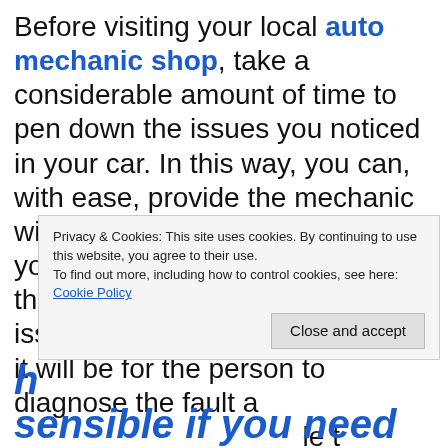Before visiting your local auto mechanic shop, take a considerable amount of time to pen down the issues you noticed in your car. In this way, you can, with ease, provide the mechanic with a precise understanding of your car's situation. The better the mechanic understands the issue with your vehicle, the easier it will be for the person to diagnose the fault and fix it. It also means you'll save time, leaving the mechanic with adequate details to...
Privacy & Cookies: This site uses cookies. By continuing to use this website, you agree to their use.
To find out more, including how to control cookies, see here:
Cookie Policy
Close and accept
sensible if you need to